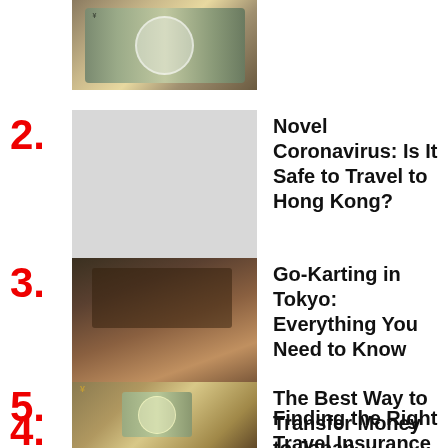[Figure (photo): Japanese yen banknote, partial view at top of page]
2. Novel Coronavirus: Is It Safe to Travel to Hong Kong?
3. Go-Karting in Tokyo: Everything You Need to Know
4. Finding the Right Travel Insurance for Japan
5. The Best Way to Transfer Money to Japan